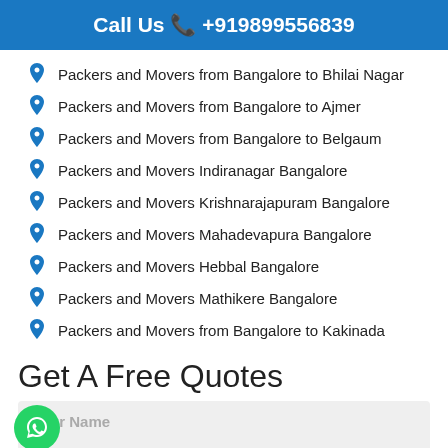Call Us ☎ +919899556839
Packers and Movers from Bangalore to Bhilai Nagar
Packers and Movers from Bangalore to Ajmer
Packers and Movers from Bangalore to Belgaum
Packers and Movers Indiranagar Bangalore
Packers and Movers Krishnarajapuram Bangalore
Packers and Movers Mahadevapura Bangalore
Packers and Movers Hebbal Bangalore
Packers and Movers Mathikere Bangalore
Packers and Movers from Bangalore to Kakinada
Get A Free Quotes
Your Name